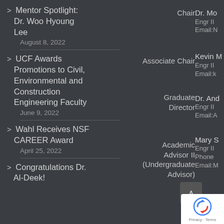Mentor Spotlight: Dr. Woo Hyoung Lee
August 8, 2022
UCF Awards Promotions to Civil, Environmental and Construction Engineering Faculty
June 9, 2022
Wahl Receives NSF CAREER Award
April 25, 2022
Congratulations Dr. Al-Deek!
Chair  Dr. Mo
Engr II
Email:N
Associate Chair  Kevin M
Engr II
Email:k
Graduate Director  Dr. And
Engr II
Email:A
Academic Advisor II (Undergraduate Advisor)  Mary S
Engr II
Phone
Email:M